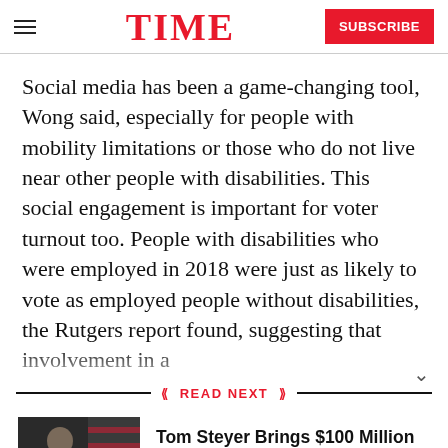TIME | SUBSCRIBE
Social media has been a game-changing tool, Wong said, especially for people with mobility limitations or those who do not live near other people with disabilities. This social engagement is important for voter turnout too. People with disabilities who were employed in 2018 were just as likely to vote as employed people without disabilities, the Rutgers report found, suggesting that involvement in a
READ NEXT
[Figure (photo): Photo of Tom Steyer at a podium with American flags in background]
Tom Steyer Brings $100 Million to the Democratic Primary. That May Not Be Enough